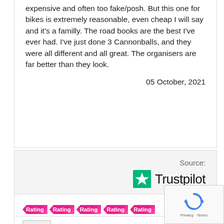expensive and often too fake/posh. But this one for bikes is extremely reasonable, even cheap I will say and it's a familly. The road books are the best I've ever had. I've just done 3 Cannonballs, and they were all different and all great. The organisers are far better than they look.
05 October, 2021
Source: Trustpilot
[Figure (other): Five pink rating tag stars labeled Rating]
[Figure (other): Review avatar placeholder image]
Tom Harvey